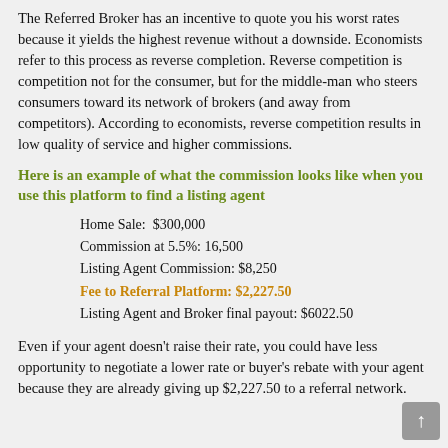The Referred Broker has an incentive to quote you his worst rates because it yields the highest revenue without a downside. Economists refer to this process as reverse completion. Reverse competition is competition not for the consumer, but for the middle-man who steers consumers toward its network of brokers (and away from competitors). According to economists, reverse competition results in low quality of service and higher commissions.
Here is an example of what the commission looks like when you use this platform to find a listing agent
Home Sale: $300,000
Commission at 5.5%: 16,500
Listing Agent Commission: $8,250
Fee to Referral Platform: $2,227.50
Listing Agent and Broker final payout: $6022.50
Even if your agent doesn't raise their rate, you could have less opportunity to negotiate a lower rate or buyer's rebate with your agent because they are already giving up $2,227.50 to a referral network.